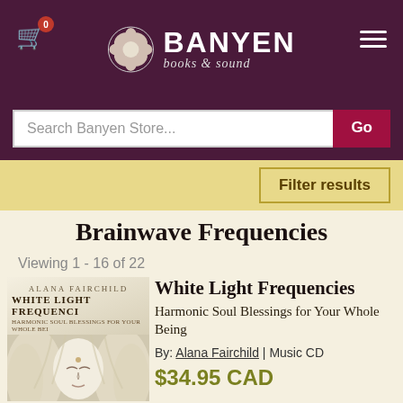BANYEN books & sound
Search Banyen Store...
Filter results
Brainwave Frequencies
Viewing 1 - 16 of 22
[Figure (illustration): Book cover for White Light Frequencies by Alana Fairchild, showing a white angelic female figure with flowing hair and a third eye marking]
White Light Frequencies
Harmonic Soul Blessings for Your Whole Being
By: Alana Fairchild | Music CD
$34.95 CAD